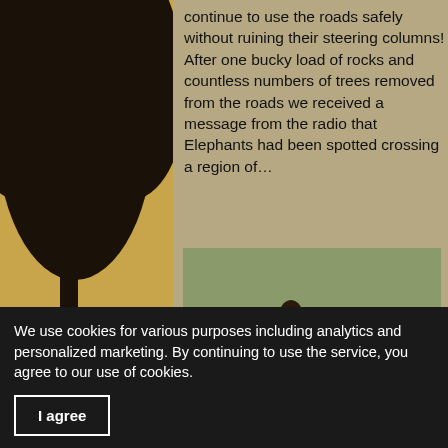[Figure (photo): Background safari sunset scene with tree silhouettes on both sides and golden/amber sky]
continue to use the roads safely without ruining their steering columns! After one bucky load of rocks and countless numbers of trees removed from the roads we received a message from the radio that Elephants had been spotted crossing a region of…
[Figure (photo): A hyena or wild dog animal standing near water, seen from behind, with green grass/brush in the background]
We use cookies for various purposes including analytics and personalized marketing. By continuing to use the service, you agree to our use of cookies.
I agree